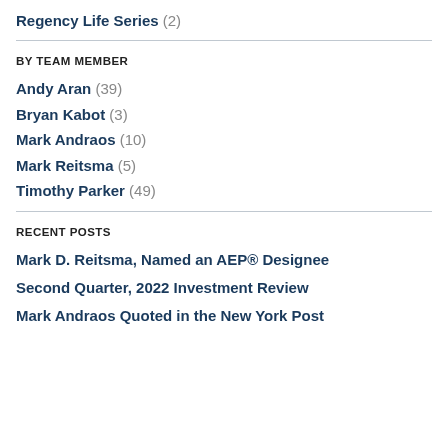Regency Life Series (2)
BY TEAM MEMBER
Andy Aran (39)
Bryan Kabot (3)
Mark Andraos (10)
Mark Reitsma (5)
Timothy Parker (49)
RECENT POSTS
Mark D. Reitsma, Named an AEP® Designee
Second Quarter, 2022 Investment Review
Mark Andraos Quoted in the New York Post